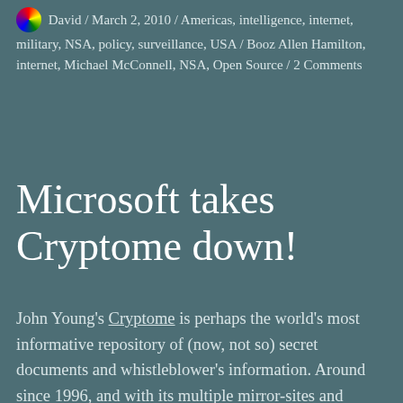David / March 2, 2010 / Americas, intelligence, internet, military, NSA, policy, surveillance, USA / Booz Allen Hamilton, internet, Michael McConnell, NSA, Open Source / 2 Comments
Microsoft takes Cryptome down!
John Young's Cryptome is perhaps the world's most informative repository of (now, not so) secret documents and whistleblower's information. Around since 1996, and with its multiple mirror-sites and determined owner, governments have tried and failed to close it down. However now the evil monopolist and